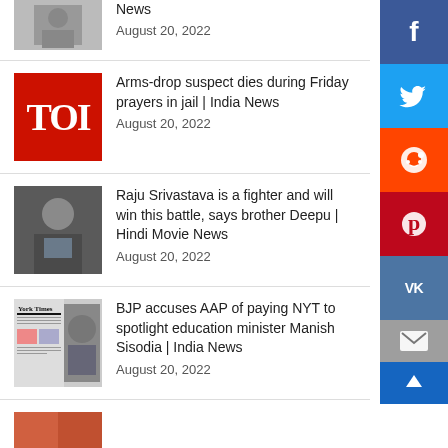[Figure (photo): Partially visible news thumbnail image at top]
News
August 20, 2022
[Figure (logo): Times of India TOI red logo]
Arms-drop suspect dies during Friday prayers in jail | India News
August 20, 2022
[Figure (photo): Photo of Raju Srivastava]
Raju Srivastava is a fighter and will win this battle, says brother Deepu | Hindi Movie News
August 20, 2022
[Figure (photo): New York Times newspaper with person photo - BJP AAP NYT story]
BJP accuses AAP of paying NYT to spotlight education minister Manish Sisodia | India News
August 20, 2022
[Figure (photo): Partially visible thumbnail at bottom]